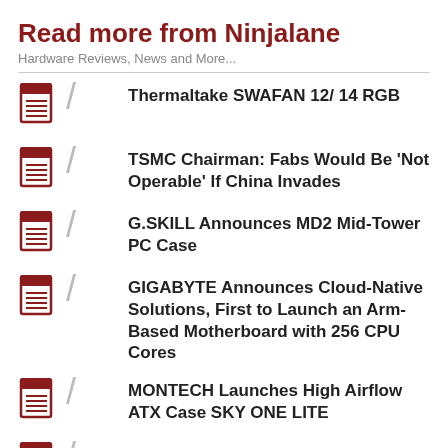Read more from Ninjalane
Hardware Reviews, News and More...
Thermaltake SWAFAN 12/ 14 RGB
TSMC Chairman: Fabs Would Be 'Not Operable' If China Invades
G.SKILL Announces MD2 Mid-Tower PC Case
GIGABYTE Announces Cloud-Native Solutions, First to Launch an Arm-Based Motherboard with 256 CPU Cores
MONTECH Launches High Airflow ATX Case SKY ONE LITE
Huge Discounts on be quiet! Anniversary FX Hardware